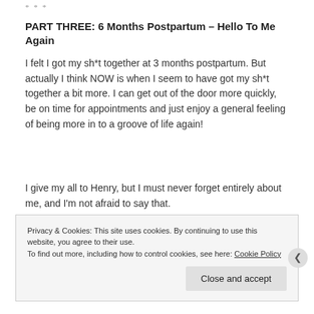* * *
PART THREE: 6 Months Postpartum – Hello To Me Again
I felt I got my sh*t together at 3 months postpartum. But actually I think NOW is when I seem to have got my sh*t together a bit more. I can get out of the door more quickly, be on time for appointments and just enjoy a general feeling of being more in to a groove of life again!
I give my all to Henry, but I must never forget entirely about me, and I'm not afraid to say that.
I'm typing this blog post whilst I am flying solo to meet a
Privacy & Cookies: This site uses cookies. By continuing to use this website, you agree to their use.
To find out more, including how to control cookies, see here: Cookie Policy
Close and accept